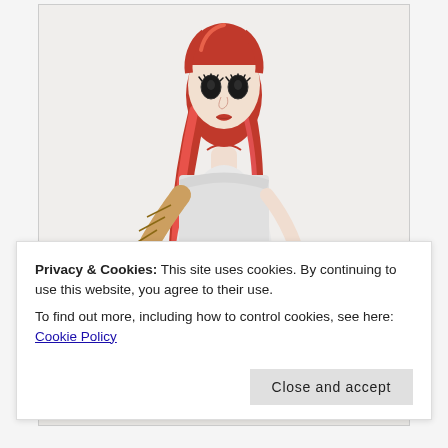[Figure (illustration): Fashion illustration of a woman with long red hair wearing a white form-fitting dress, one arm wrapped in a bandage/cast-like sleeve, holding a black bag in the other hand. The style is artistic/stylized.]
Privacy & Cookies: This site uses cookies. By continuing to use this website, you agree to their use.
To find out more, including how to control cookies, see here: Cookie Policy
Close and accept